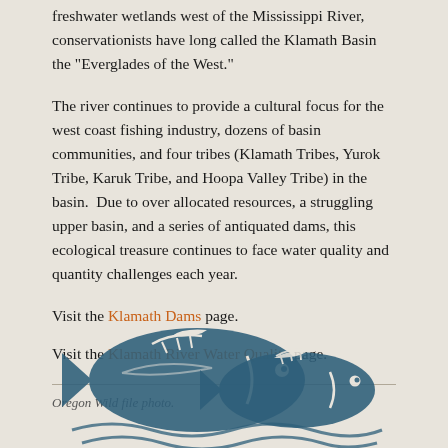freshwater wetlands west of the Mississippi River, conservationists have long called the Klamath Basin the "Everglades of the West."
The river continues to provide a cultural focus for the west coast fishing industry, dozens of basin communities, and four tribes (Klamath Tribes, Yurok Tribe, Karuk Tribe, and Hoopa Valley Tribe) in the basin. Due to over allocated resources, a struggling upper basin, and a series of antiquated dams, this ecological treasure continues to face water quality and quantity challenges each year.
Visit the Klamath Dams page.
Visit the Klamath River Water Quality page.
Oregon Wild file photo.
[Figure (illustration): A woodblock-style illustration of two fish swimming in water, rendered in dark teal/blue color on a beige background.]